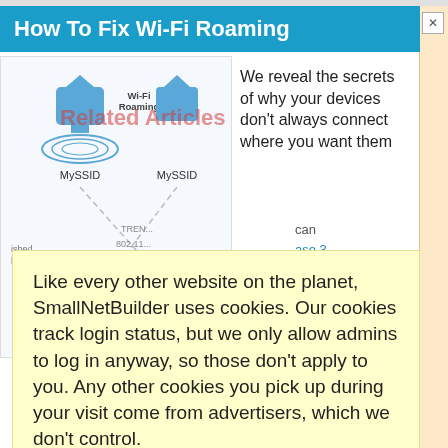How To Fix Wi-Fi Roaming
[Figure (screenshot): Screenshot of a web article page about Wi-Fi Roaming, showing a network diagram with MySSID labels, Wi-Fi Roaming text, and a mobile device. A 'Related Articles' watermark overlays the image. On the right side is article text reading 'We reveal the secrets of why your devices don't always connect where you want them'. Partial sidebar text visible: 'can', 'ase 3', 'Next' button, 'd 2', 'Batch', 'way', 'net', 'Dual'.]
Like every other website on the planet, SmallNetBuilder uses cookies. Our cookies track login status, but we only allow admins to log in anyway, so those don't apply to you. Any other cookies you pick up during your visit come from advertisers, which we don't control.
If you continue to use the site, you agree to tolerate our use of cookies. Thank you!